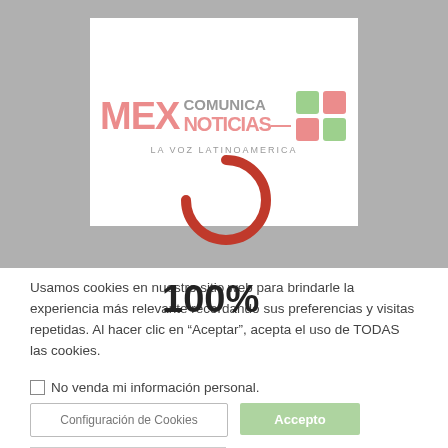[Figure (logo): MexComunica Noticias logo - 'MEX' in large pink/red letters, 'COMUNICA' in gray, 'NOTICIAS' below, globe icon, tagline 'LA VOZ LATINOAMERICA'. Loading spinner (red arc) overlaid at bottom. '100%' loading label.]
Usamos cookies en nuestro sitio web para brindarle la experiencia más relevante recordando sus preferencias y visitas repetidas. Al hacer clic en "Aceptar", acepta el uso de TODAS las cookies.
No venda mi información personal.
Configuración de Cookies
Accepto
Spanish